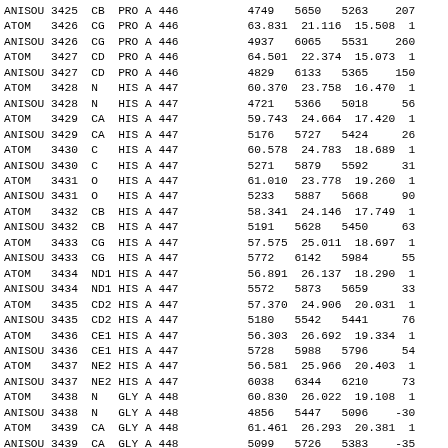| ANISOU 3425  CB  PRO A 446 | 4749   5650   5263    207 |
| ATOM   3426  CG  PRO A 446 |  63.831  21.116  15.508  1 |
| ANISOU 3426  CG  PRO A 446 | 4937   6065   5531    260 |
| ATOM   3427  CD  PRO A 446 |  64.501  22.374  15.073  1 |
| ANISOU 3427  CD  PRO A 446 | 4829   6133   5365    150 |
| ATOM   3428  N   HIS A 447 |  60.370  23.758  16.470  1 |
| ANISOU 3428  N   HIS A 447 | 4721   5366   5018     56 |
| ATOM   3429  CA  HIS A 447 |  59.743  24.664  17.420  1 |
| ANISOU 3429  CA  HIS A 447 | 5176   5727   5424     26 |
| ATOM   3430  C   HIS A 447 |  60.578  24.783  18.689  1 |
| ANISOU 3430  C   HIS A 447 | 5271   5879   5592     31 |
| ATOM   3431  O   HIS A 447 |  61.010  23.778  19.260  1 |
| ANISOU 3431  O   HIS A 447 | 5233   5887   5668     90 |
| ATOM   3432  CB  HIS A 447 |  58.341  24.146  17.749  1 |
| ANISOU 3432  CB  HIS A 447 | 5191   5628   5450     63 |
| ATOM   3433  CG  HIS A 447 |  57.575  25.011  18.697  1 |
| ANISOU 3433  CG  HIS A 447 | 5772   6142   5984     55 |
| ATOM   3434  ND1 HIS A 447 |  56.891  26.137  18.290  1 |
| ANISOU 3434  ND1 HIS A 447 | 5572   5873   5659     33 |
| ATOM   3435  CD2 HIS A 447 |  57.370  24.906  20.031  1 |
| ANISOU 3435  CD2 HIS A 447 | 5180   5542   5441     76 |
| ATOM   3436  CE1 HIS A 447 |  56.303  26.692  19.334  1 |
| ANISOU 3436  CE1 HIS A 447 | 5728   5988   5796     54 |
| ATOM   3437  NE2 HIS A 447 |  56.581  25.966  20.403  1 |
| ANISOU 3437  NE2 HIS A 447 | 6038   6344   6210     73 |
| ATOM   3438  N   GLY A 448 |  60.830  26.022  19.108  1 |
| ANISOU 3438  N   GLY A 448 | 4856   5447   5096    -30 |
| ATOM   3439  CA  GLY A 448 |  61.461  26.293  20.381  1 |
| ANISOU 3439  CA  GLY A 448 | 5099   5726   5383    -35 |
| ATOM   3440  C   GLY A 448 |  62.970  26.415  20.374  1 |